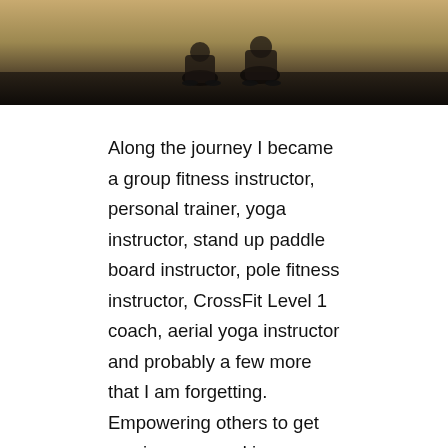[Figure (photo): A dark gym or fitness setting photo cropped at the top of the page, showing people near the bottom of the frame against a golden-brown wall background.]
Along the journey I became a group fitness instructor, personal trainer, yoga instructor, stand up paddle board instructor, pole fitness instructor, CrossFit Level 1 coach, aerial yoga instructor and probably a few more that I am forgetting. Empowering others to get moving was, and is, a passion of mine but at the age of 25 something went wrong with my health. I sought out the help of many doctors and specialists but none were able to figure out my problem.